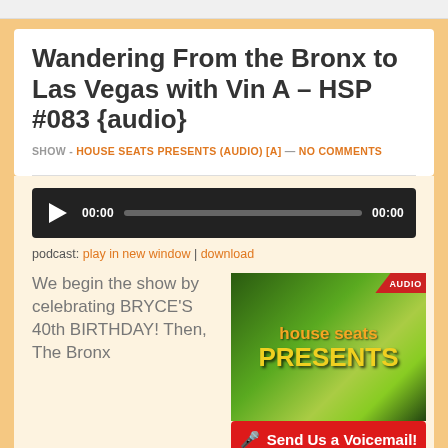Wandering From the Bronx to Las Vegas with Vin A – HSP #083 {audio}
SHOW - HOUSE SEATS PRESENTS (AUDIO) [A] — NO COMMENTS
[Figure (screenshot): Audio player with play button, 00:00 time display, progress bar, and 00:00 end time on dark background]
podcast: play in new window | download
We begin the show by celebrating BRYCE'S 40th BIRTHDAY! Then, The Bronx
[Figure (logo): House Seats Presents show logo with green stage lighting background and red AUDIO ribbon, with red voicemail bar at bottom reading 'Send Us a Voicemail!']